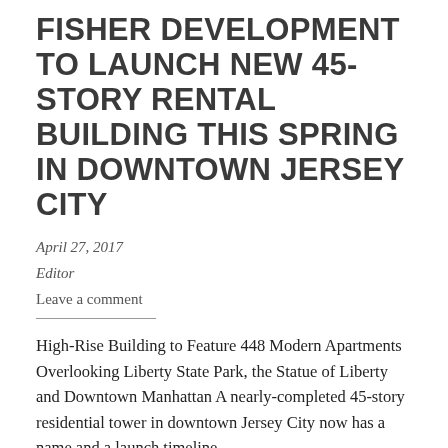FISHER DEVELOPMENT TO LAUNCH NEW 45-STORY RENTAL BUILDING THIS SPRING IN DOWNTOWN JERSEY CITY
April 27, 2017
Editor
Leave a comment
High-Rise Building to Feature 448 Modern Apartments Overlooking Liberty State Park, the Statue of Liberty and Downtown Manhattan A nearly-completed 45-story residential tower in downtown Jersey City now has a name and a launch timeline.